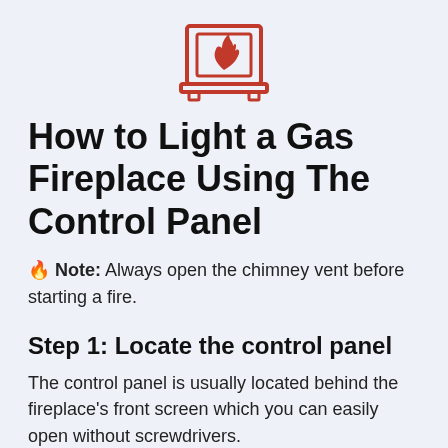[Figure (illustration): Red outlined icon of a fireplace with a flame inside, above a base/shelf]
How to Light a Gas Fireplace Using The Control Panel
🔥 Note: Always open the chimney vent before starting a fire.
Step 1: Locate the control panel
The control panel is usually located behind the fireplace's front screen which you can easily open without screwdrivers.